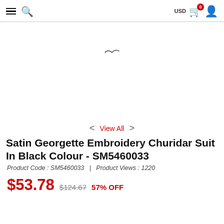USD 0 (cart)
[Figure (photo): Product image area — mostly white/empty with a small bird silhouette in the center. Navigation arrows and 'View All' link below the image area.]
< View All >
Satin Georgette Embroidery Churidar Suit In Black Colour - SM5460033
Product Code : SM5460033  |  Product Views : 1220
$53.78  $124.67  57% OFF